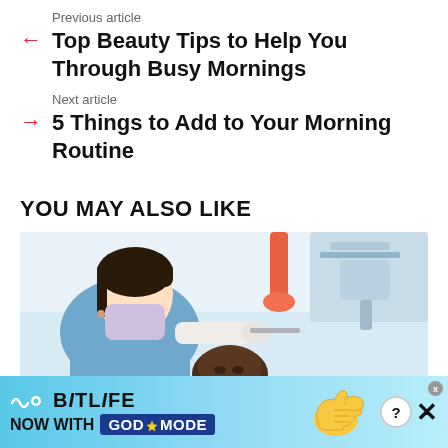Previous article
← Top Beauty Tips to Help You Through Busy Mornings
Next article
→ 5 Things to Add to Your Morning Routine
YOU MAY ALSO LIKE
[Figure (photo): A dental hygienist wearing a mask and blue scrubs leaning over a patient in a dental chair, operating dental equipment.]
[Figure (infographic): BitLife advertisement banner: cyan/blue background with BitLife logo, text NOW WITH GOD MODE in dark blue badge, hand illustration pointing right, question mark icon, X close button.]